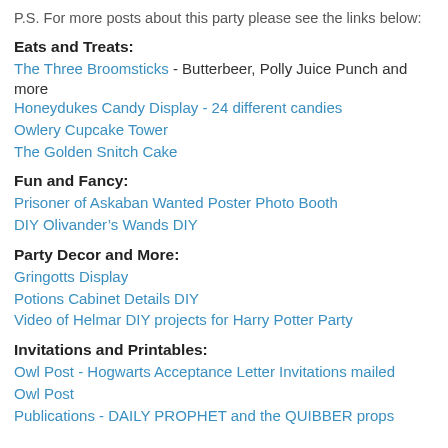P.S. For more posts about this party please see the links below:
Eats and Treats:
The Three Broomsticks - Butterbeer, Polly Juice Punch and more
Honeydukes Candy Display - 24 different candies
Owlery Cupcake Tower
The Golden Snitch Cake
Fun and Fancy:
Prisoner of Askaban Wanted Poster Photo Booth
DIY Olivander’s Wands DIY
Party Decor and More:
Gringotts Display
Potions Cabinet Details DIY
Video of Helmar DIY projects for Harry Potter Party
Invitations and Printables:
Owl Post - Hogwarts Acceptance Letter Invitations mailed
Owl Post
Publications - DAILY PROPHET and the QUIBBER props